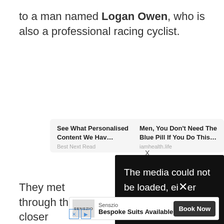to a man named Logan Owen, who is also a professional racing cyclist.
[Figure (screenshot): Advertisement widget showing two sponsored content items: 'See What Personalised Content We Hav...' from Best Next Read, and 'Men, You Don't Need The Blue Pill If You Do This...' from iamhealth.life, with an X close button]
[Figure (screenshot): Black overlay error message: 'The media could not be loaded, either because the server or network failed or because the' with an X mark overlaid]
They met through th... closer... weddi...
[Figure (screenshot): adpushup badge (red), Senszio advertisement banner with 'Bespoke Suits Available' and 'Book Now' button, and small social media icons]